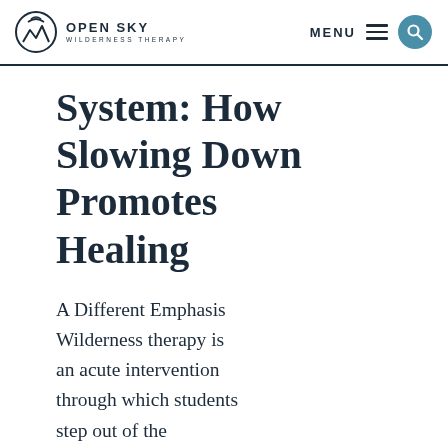OPEN SKY WILDERNESS THERAPY | MENU
System: How Slowing Down Promotes Healing
A Different Emphasis Wilderness therapy is an acute intervention through which students step out of the pressures of life and reevaluate their relationship with